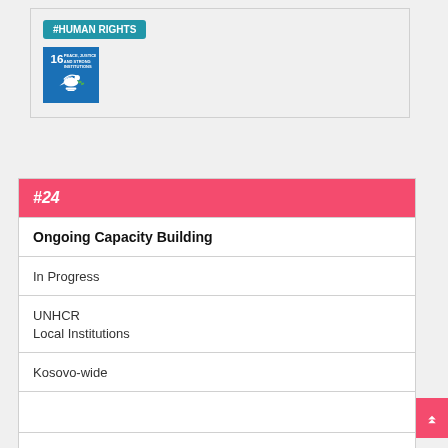#HUMAN RIGHTS
[Figure (logo): SDG 16 Peace, Justice and Strong Institutions icon - blue square with white dove]
#24
Ongoing Capacity Building
In Progress
UNHCR
Local Institutions
Kosovo-wide
#HUMAN RIGHTS
[Figure (logo): SDG 16 and SDG 17 icons side by side]